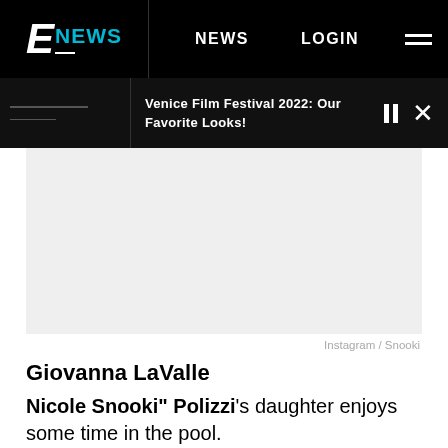E! NEWS  NEWS  LOGIN
Venice Film Festival 2022: Our Favorite Looks!
[Figure (photo): Placeholder image area (light gray background, no visible photo content)]
Instagram / Snooki
Giovanna LaValle
Nicole Snooki" Polizzi's daughter enjoys some time in the pool.